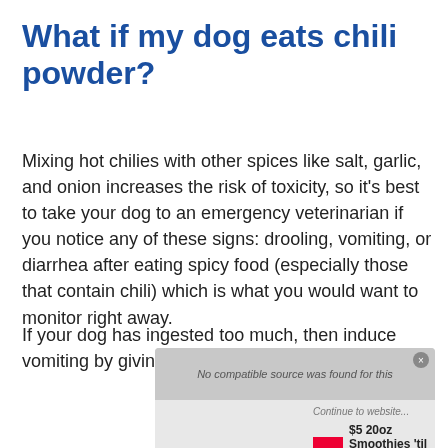What if my dog eats chili powder?
Mixing hot chilies with other spices like salt, garlic, and onion increases the risk of toxicity, so it's best to take your dog to an emergency veterinarian if you notice any of these signs: drooling, vomiting, or diarrhea after eating spicy food (especially those that contain chili) which is what you would want to monitor right away.
If your dog has ingested too much, then induce vomiting by giving him hydrogen peroxide (1
[Figure (screenshot): An advertisement overlay showing 'No compatible source was found for this' message at top, with a map background on the left and Smoothie King ad on the right: '$5 20oz Smoothies 'til 11am' with Smoothie King logo and navigation icon. Play and close controls visible.]